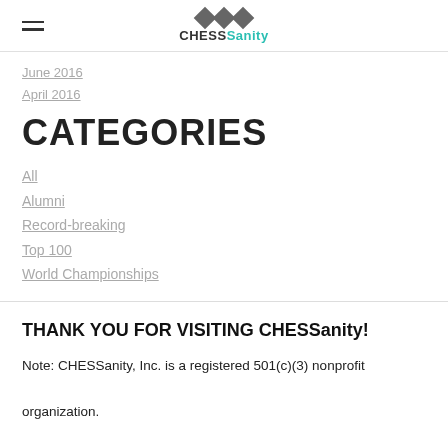CHESSanity
June 2016
April 2016
CATEGORIES
All
Alumni
Record-breaking
Top 100
World Championships
THANK YOU FOR VISITING CHESSanity!
Note: CHESSanity, Inc. is a registered 501(c)(3) nonprofit organization.